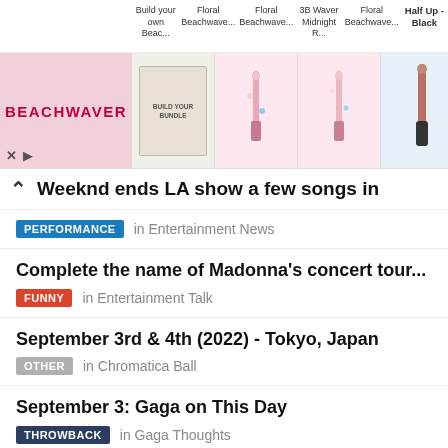[Figure (screenshot): Beachwaver advertisement banner showing product lineup: Build your own Beac..., Floral Beachwave..., Floral Beachwave..., 3B Waver Midnight R..., Floral Beachwave..., Half Up - Black. Includes brand logo in pink panel on left and product thumbnails.]
Weeknd ends LA show a few songs in
PERFORMANCE in Entertainment News
Complete the name of Madonna's concert tour...
FUNNY in Entertainment Talk
September 3rd & 4th (2022) - Tokyo, Japan
OTHER in Chromatica Ball
September 3: Gaga on This Day
THROWBACK in Gaga Thoughts
Gaga dancing with her goddaughter at The...